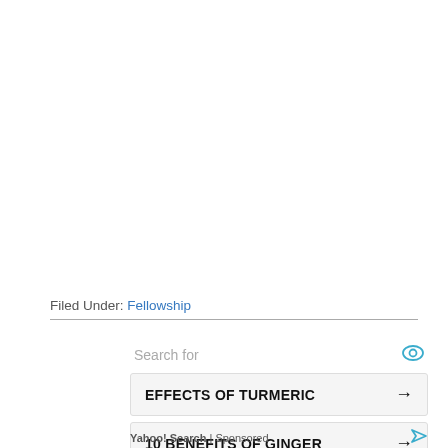Filed Under: Fellowship
Search for
EFFECTS OF TURMERIC →
10 BENEFITS OF GINGER →
Yahoo! Search | Sponsored